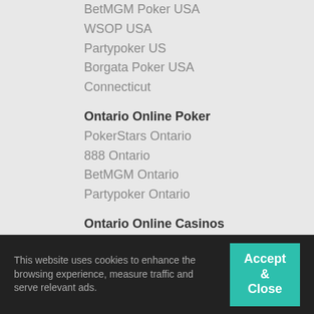BetMGM Poker USA
WSOP USA
Partypoker US
Borgata Poker USA
Connecticut
Ontario Online Poker
PokerStars Ontario
888 Ontario
BetMGM Ontario
Partypoker Ontario
Ontario Online Casinos
BetMGM Ontario
BetRivers Ontario
This website uses cookies to enhance the browsing experience, measure traffic and serve relevant ads.